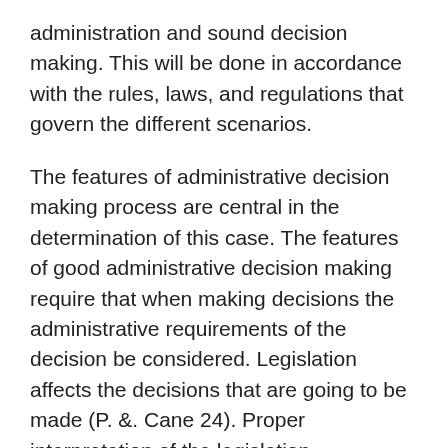administration and sound decision making. This will be done in accordance with the rules, laws, and regulations that govern the different scenarios.
The features of administrative decision making process are central in the determination of this case. The features of good administrative decision making require that when making decisions the administrative requirements of the decision be considered. Legislation affects the decisions that are going to be made (P. &. Cane 24). Proper interpretation of the legislation requirements is fundamental in the determination of the section that is applicable in the decision to be made. A good administrative decision requires that a proper explanation and justifications be attached to the decisions made. The justifications and explanations need to be available to the people that the decision affects. Legislation entitles the